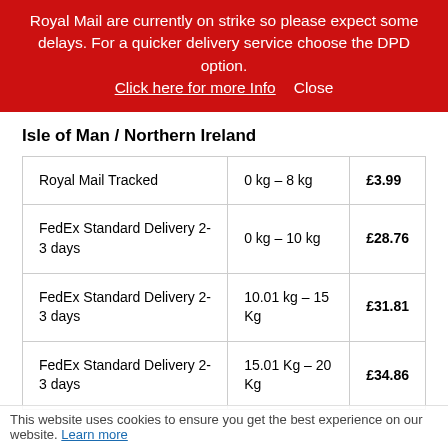Royal Mail are currently on strike so please expect some delays. For a quicker delivery service choose the DPD option. Click here for more Info   Close
Isle of Man / Northern Ireland
| Service | Weight | Price |
| --- | --- | --- |
| Royal Mail Tracked | 0 kg – 8 kg | £3.99 |
| FedEx Standard Delivery 2-3 days | 0 kg – 10 kg | £28.76 |
| FedEx Standard Delivery 2-3 days | 10.01 kg – 15 Kg | £31.81 |
| FedEx Standard Delivery 2-3 days | 15.01 Kg – 20 Kg | £34.86 |
This website uses cookies to ensure you get the best experience on our website. Learn more